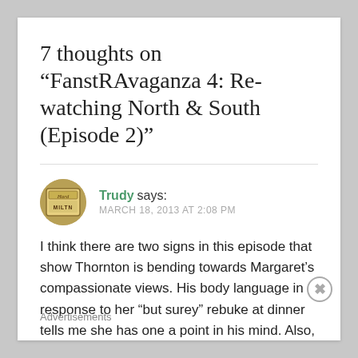7 thoughts on “FanstRAvaganza 4: Re-watching North & South (Episode 2)”
Trudy says:
MARCH 18, 2013 AT 2:08 PM
I think there are two signs in this episode that show Thornton is bending towards Margaret’s compassionate views. His body language in response to her “but surey” rebuke at dinner tells me she has one a point in his mind. Also, something of
Advertisements